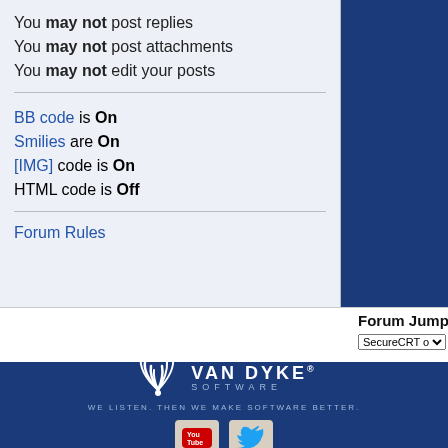You may not post replies
You may not post attachments
You may not edit your posts
BB code is On
Smilies are On
[IMG] code is On
HTML code is Off
Forum Rules
Forum Jump
SecureCRT on the Mac
[Figure (logo): VanDyke Software logo with wifi-style arc icon, tagline: WE LISTEN. THEN WE MAKE SOFTWARE BETTER.]
[Figure (illustration): YouTube and Twitter social media icon buttons]